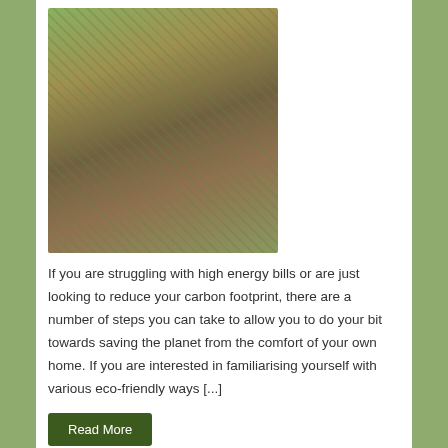[Figure (photo): Overhead photo of eco-friendly table setting with mason jars, glass containers, cutlery, wooden boards, and small plants on a wooden surface]
If you are struggling with high energy bills or are just looking to reduce your carbon footprint, there are a number of steps you can take to allow you to do your bit towards saving the planet from the comfort of your own home. If you are interested in familiarising yourself with various eco-friendly ways [...]
Read More
How to Make Your Wedding Eco-friendly
By Lucy & Libby, September 12, 2021